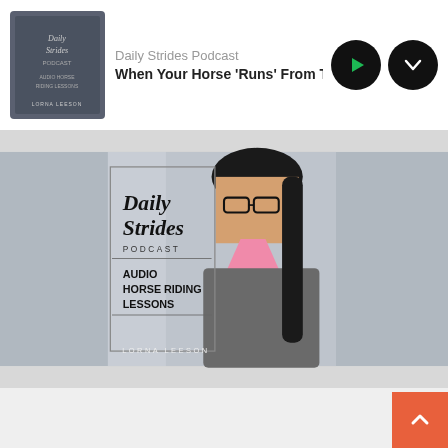Daily Strides Podcast — When Your Horse 'Runs' From Trot ir
[Figure (illustration): Daily Strides Podcast cover art showing Lorna Leeson, a woman with dark hair and glasses wearing a grey puffer vest with pink collar. Text overlay reads 'Daily Strides PODCAST AUDIO HORSE RIDING LESSONS LORNA LEESON']
HAVE PLANS FOR YOUR NEXT RIDE?
[Figure (photo): Bottom banner showing a horse and text FREE RIDING PLAN on dark overlay]